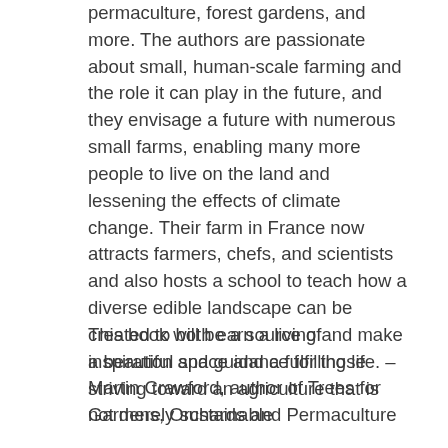permaculture, forest gardens, and more. The authors are passionate about small, human-scale farming and the role it can play in the future, and they envisage a future with numerous small farms, enabling many more people to live on the land and lessening the effects of climate change. Their farm in France now attracts farmers, chefs, and scientists and also hosts a school to teach how a diverse edible landscape can be created to both earn a living and make a beautiful space and a fulfilling life. –Martin Crawford, author of Trees for Gardens, Orchards and Permaculture
This book will be a source of inspiration and guidance for those striving toward an agriculture that is not merely sustainable